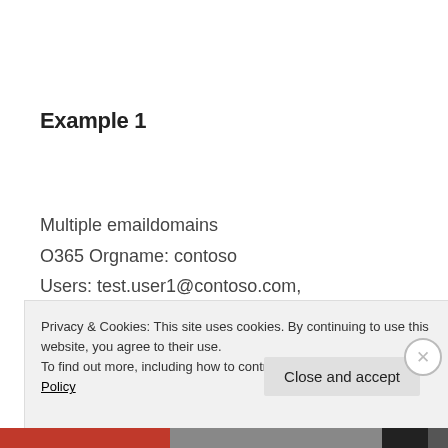Example 1
Multiple emaildomains
O365 Orgname: contoso
Users: test.user1@contoso.com,
test.user2@northwind.com.
Privacy & Cookies: This site uses cookies. By continuing to use this website, you agree to their use.
To find out more, including how to control cookies, see here: Cookie Policy
Close and accept